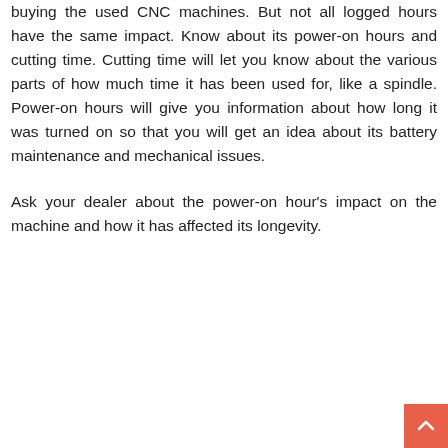buying the used CNC machines. But not all logged hours have the same impact. Know about its power-on hours and cutting time. Cutting time will let you know about the various parts of how much time it has been used for, like a spindle. Power-on hours will give you information about how long it was turned on so that you will get an idea about its battery maintenance and mechanical issues.
Ask your dealer about the power-on hour's impact on the machine and how it has affected its longevity.